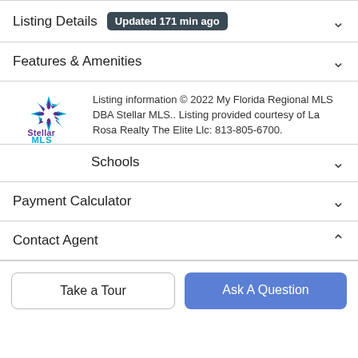Listing Details  Updated 171 min ago
Features & Amenities
Listing information © 2022 My Florida Regional MLS DBA Stellar MLS.. Listing provided courtesy of La Rosa Realty The Elite Llc: 813-805-6700.
Schools
Payment Calculator
Contact Agent
Take a Tour
Ask A Question